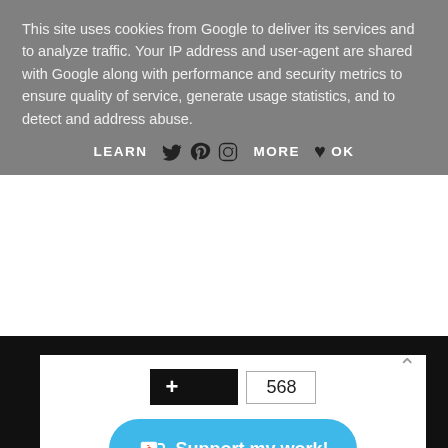This site uses cookies from Google to deliver its services and to analyze traffic. Your IP address and user-agent are shared with Google along with performance and security metrics to ensure quality of service, generate usage statistics, and to detect and address abuse.
LEARN MORE   OK
+ 568
Support my work!
Categories
books
Monthly Wrap Ups
OOTD
periods